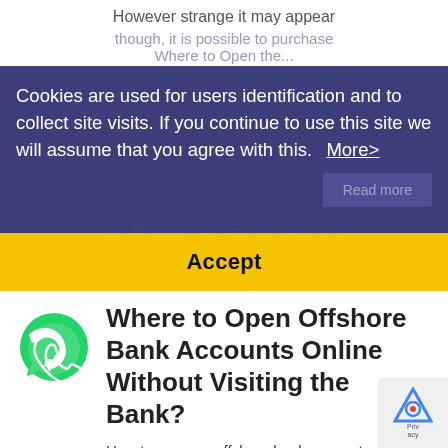However strange it may appear
though, it is possible to purchase
Where to Open the...
Cookies are used for users identification and to collect site visits. If you continue to use this site we will assume that you agree with this.  More>
Read more
Accept
Where to Open Offshore Bank Accounts Online Without Visiting the Bank?
How to open an offshore bank account remotely in 2020? What